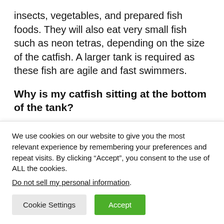insects, vegetables, and prepared fish foods. They will also eat very small fish such as neon tetras, depending on the size of the catfish. A larger tank is required as these fish are agile and fast swimmers.
Why is my catfish sitting at the bottom of the tank?
A too hot tank When water conditions are off, it's not unusual for fish to rest near the bottom. If water isn't correctly aerated it is too warm or has an overload
We use cookies on our website to give you the most relevant experience by remembering your preferences and repeat visits. By clicking “Accept”, you consent to the use of ALL the cookies.
Do not sell my personal information.